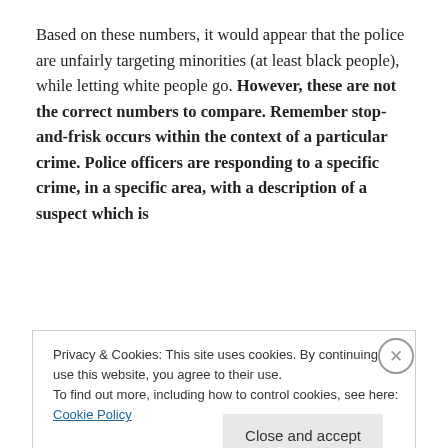Based on these numbers, it would appear that the police are unfairly targeting minorities (at least black people), while letting white people go. However, these are not the correct numbers to compare. Remember stop-and-frisk occurs within the context of a particular crime. Police officers are responding to a specific crime, in a specific area, with a description of a suspect which is
Privacy & Cookies: This site uses cookies. By continuing to use this website, you agree to their use.
To find out more, including how to control cookies, see here: Cookie Policy